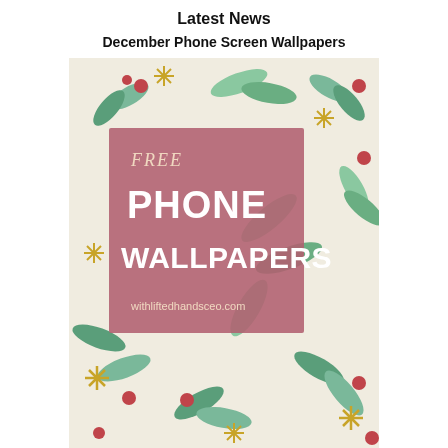Latest News
December Phone Screen Wallpapers
[Figure (illustration): Christmas/holiday themed phone wallpaper illustration with holly leaves, berries, snowflakes in green, red and gold on a cream background. A mauve/dusty pink square overlay in the upper-left area contains italic text 'FREE' and bold white large text 'PHONE WALLPAPERS' and smaller text 'withliftedhandsceo.com']